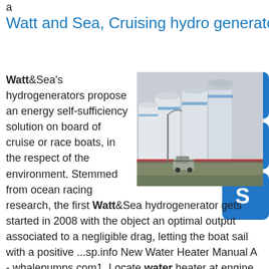a
Watt and Sea, Cruising hydro generators for your yacht!
[Figure (photo): Industrial storage tanks or silos in a row, photographed from ground level with a vehicle visible in the foreground]
[Figure (infographic): Three blue icon buttons: headset/support icon, phone icon, and Skype icon]
Watt&Sea's hydrogenerators propose an energy self-sufficiency solution on board of cruise or race boats, in the respect of the environment. Stemmed from ocean racing research, the first Watt&Sea hydrogenerator gets started in 2008 with the object an optimal output associated to a negligible drag, letting the boat sail with a positive ...sp.info New Water Heater Manual A - whalepumps.com1. Locate water heater at engine level as close to engine as possible. 2. Secure mounting brackets to structure with eight #12 minimum screws or ¼ - 20 minimum cap screws and nuts. 3. Connect cold water supply and hot water outlet to heater